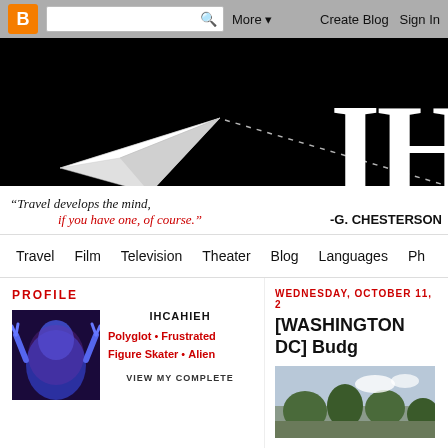Blogger navigation bar with search, More, Create Blog, Sign In
[Figure (screenshot): Blog header banner with black background, paper airplane graphic flying left-to-right with dashed trail, large white serif letters 'IH' visible (part of blog name), and a white banner strip reading: "Travel develops the mind, if you have one, of course." -G. CHESTERSON]
Navigation: Travel | Film | Television | Theater | Blog | Languages | Ph...
PROFILE
[Figure (photo): Profile photo showing a person with blue alien-like appearance with raised hands]
IHCAHIEH
Polyglot • Frustrated Figure Skater • Alien
VIEW MY COMPLETE
WEDNESDAY, OCTOBER 11, 2
[WASHINGTON DC] Budg
[Figure (photo): Partial photo of Washington DC area, trees and sky visible]